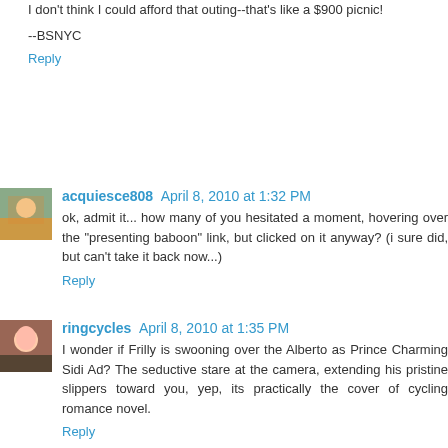I don't think I could afford that outing--that's like a $900 picnic!
--BSNYC
Reply
acquiesce808  April 8, 2010 at 1:32 PM
ok, admit it... how many of you hesitated a moment, hovering over the "presenting baboon" link, but clicked on it anyway? (i sure did, but can't take it back now...)
Reply
ringcycles  April 8, 2010 at 1:35 PM
I wonder if Frilly is swooning over the Alberto as Prince Charming Sidi Ad? The seductive stare at the camera, extending his pristine slippers toward you, yep, its practically the cover of cycling romance novel.
Reply